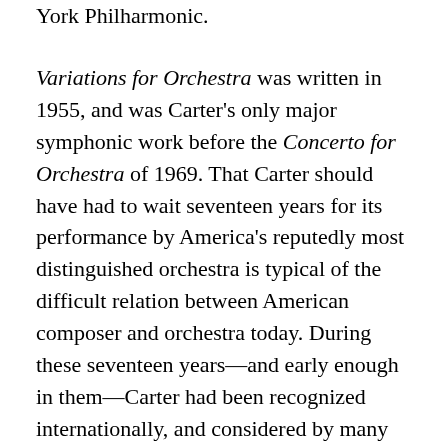York Philharmonic.
Variations for Orchestra was written in 1955, and was Carter's only major symphonic work before the Concerto for Orchestra of 1969. That Carter should have had to wait seventeen years for its performance by America's reputedly most distinguished orchestra is typical of the difficult relation between American composer and orchestra today. During these seventeen years—and early enough in them—Carter had been recognized internationally, and considered by many as the finest and most interesting American composer now writing; for most of these seventeen years, in spite of this widespread recognition, the New York Philharmonic had chosen to act as if he did not exist.